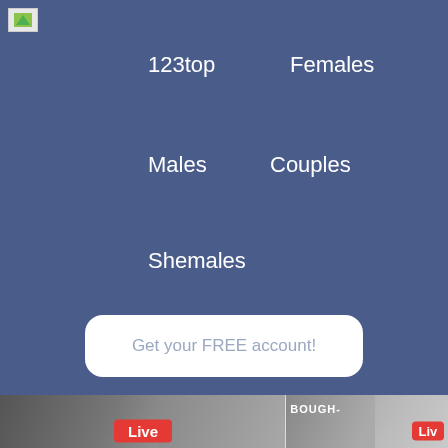[Figure (screenshot): Navigation menu with links: 123top, Females, Males, Couples, Shemales on blue background]
123top
Females
Males
Couples
Shemales
Get your FREE account!
[Figure (screenshot): Live stream thumbnail for didiactive, 23 female, 2 hours online, 4453 viewers]
didiactive   23 female
2 hours   4453
[Figure (screenshot): Live stream thumbnail for lottie_shine, 18 female, 5 hours online, 4748 viewers]
lottie_shine   18 fem
5 hours   4748
[Figure (photo): Photo of a young woman with dark hair]
[Figure (photo): Photo with curtain/bedroom background]